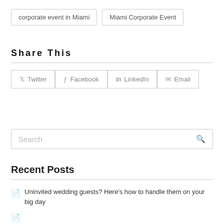corporate event in Miami
Miami Corporate Event
Share This
Twitter  Facebook  LinkedIn  Email
Search
Recent Posts
Uninvited wedding guests? Here's how to handle them on your big day